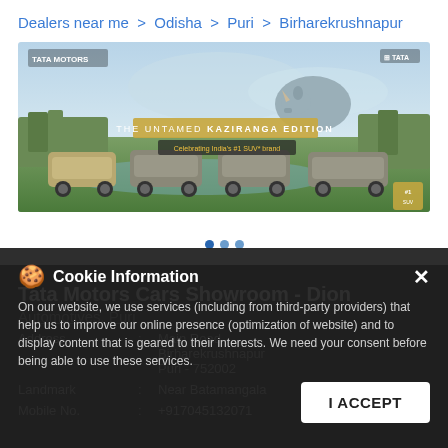Dealers near me > Odisha > Puri > Birharekrushnapur
[Figure (photo): Tata Motors Kaziranga Edition advertisement showing four SUVs in a wildlife setting with a rhino, text: THE UNTAMED KAZIRANGA EDITION, Celebrating India's #1 SUV* brand]
Tata Motors Cars Showroom - Dion
Automotives, Puri
Address : Main Road
Birharekrushnapur
Puri - 752002
Landmark : Near Batamangala
Mobile No. : +917045132071
Cookie Information
On our website, we use services (including from third-party providers) that help us to improve our online presence (optimization of website) and to display content that is geared to their interests. We need your consent before being able to use these services.